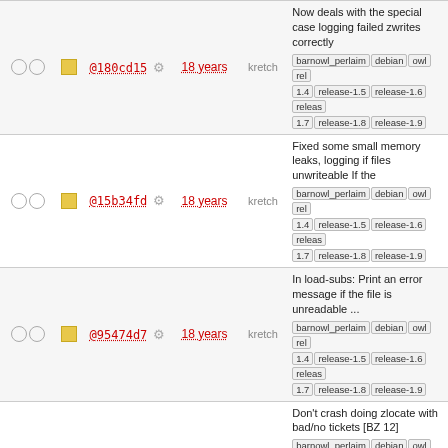|  |  | hash | age | author | message |
| --- | --- | --- | --- | --- | --- |
| ○○ | ■ | @180cd15 | 18 years | kretch | Now deals with the special case logging failed zwrites correctly
barnowl_perlaim debian owl rel 1.4 release-1.5 release-1.6 release... 1.7 release-1.8 release-1.9 |
| ○○ | ■ | @15b34fd | 18 years | kretch | Fixed some small memory leaks, logging if files unwriteable If the
barnowl_perlaim debian owl rel 1.4 release-1.5 release-1.6 release... 1.7 release-1.8 release-1.9 |
| ○○ | ■ | @95474d7 | 18 years | kretch | In load-subs: Print an error message if the file is unreadable ...
barnowl_perlaim debian owl rel 1.4 release-1.5 release-1.6 release... 1.7 release-1.8 release-1.9 |
| ○○ | ■ | @667a1b6 | 18 years | kretch | Don't crash doing zlocate with bad/no tickets [BZ 12]
barnowl_perlaim debian owl rel 1.4 release-1.5 release-1.6 release... 1.7 release-1.8 release-1.9 |
| ○○ | ■ | @74037d9 | 18 years | kretch | In 'sub' command, create .zephyr.subs if it doesn't exist [B 15] A ...
barnowl_perlaim debian owl rel 1.4 release-1.5 release-1.6 release... 1.7 release-1.8 release-1.9 |
| ○○ | ■ | @fe67f1f | 18 years | kretch | Do OLC formatting for anything coming from olc.matisse Improvements to ...
barnowl_perlaim debian owl rel 1.4 release-1.5 release-1.6 release... 1.7 release-1.8 release-1.9 |
| ○○ | ■ |  |  |  | Handle MIT Athena OLC zephy... |